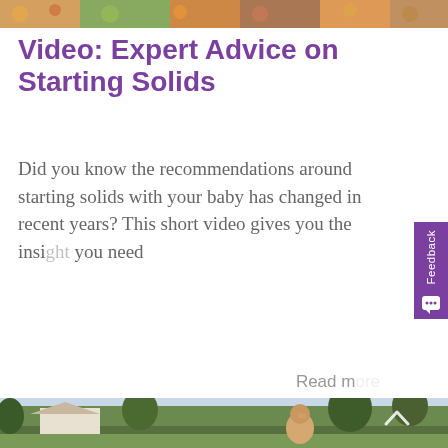[Figure (photo): Cropped photo strip at top of page showing colorful food or decorative items]
Video: Expert Advice on Starting Solids
Did you know the recommendations around starting solids with your baby has changed in recent years? This short video gives you the inside you need
Read more
[Figure (photo): Outdoor photo of a young toddler with curly hair smiling, standing outside with trees and a house in the background]